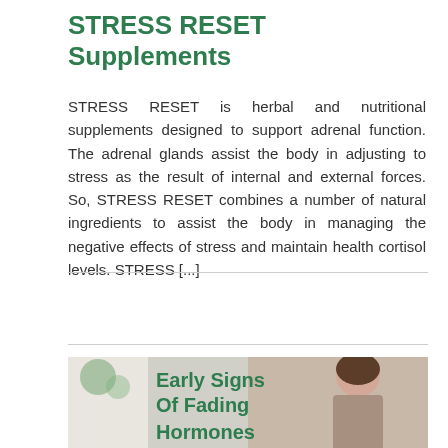STRESS RESET Supplements
STRESS RESET is herbal and nutritional supplements designed to support adrenal function. The adrenal glands assist the body in adjusting to stress as the result of internal and external forces. So, STRESS RESET combines a number of natural ingredients to assist the body in managing the negative effects of stress and maintain health cortisol levels. STRESS [...]
December 28th, 2018  |  Men, Vitamins and Wellness, Weight Loss, Women  |  Comments Off
Read More ›
[Figure (photo): Banner image showing a woman looking down with text overlay reading 'Early Signs Of Fading Hormones' in green bold font on a light background]